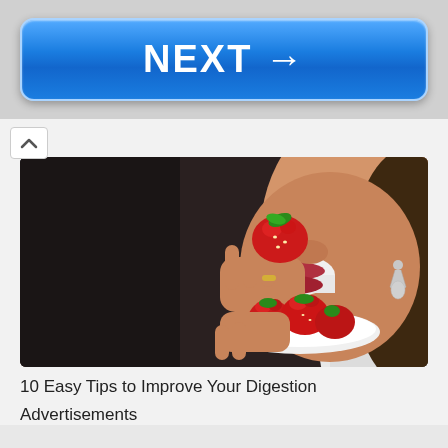NEXT →
[Figure (photo): Woman eating a strawberry from a plate of strawberries, close-up photo]
10 Easy Tips to Improve Your Digestion
Advertisements